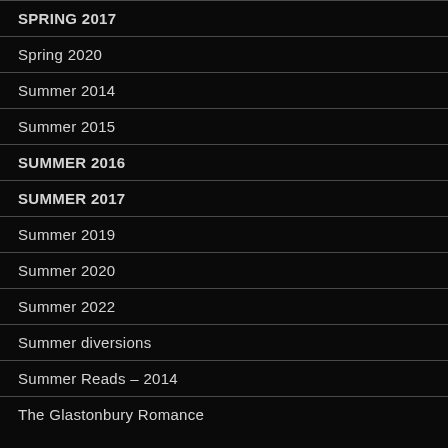SPRING 2017
Spring 2020
Summer 2014
Summer 2015
SUMMER 2016
SUMMER 2017
Summer 2019
Summer 2020
Summer 2022
Summer diversions
Summer Reads – 2014
The Glastonbury Romance